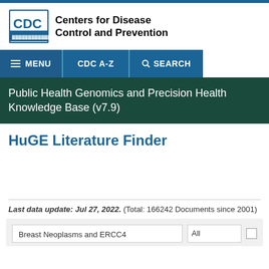[Figure (logo): CDC logo with text: Centers for Disease Control and Prevention]
MENU  CDC A-Z  SEARCH
Public Health Genomics and Precision Health Knowledge Base (v7.9)
HuGE Literature Finder
Last data update: Jul 27, 2022. (Total: 166242 Documents since 2001)
Breast Neoplasms and ERCC4